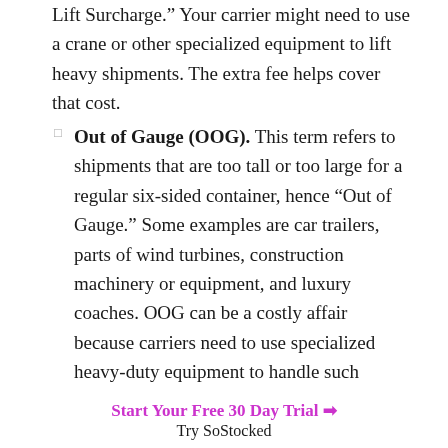Lift Surcharge.” Your carrier might need to use a crane or other specialized equipment to lift heavy shipments. The extra fee helps cover that cost.
Out of Gauge (OOG). This term refers to shipments that are too tall or too large for a regular six-sided container, hence “Out of Gauge.” Some examples are car trailers, parts of wind turbines, construction machinery or equipment, and luxury coaches. OOG can be a costly affair because carriers need to use specialized heavy-duty equipment to handle such massive cargo for transport by ocean. Plus, these items also eat into space that carriers could have been used for other shipments, so they will also charge additional fees to make up for this wasted
Start Your Free 30 Day Trial →
Try SoStocked